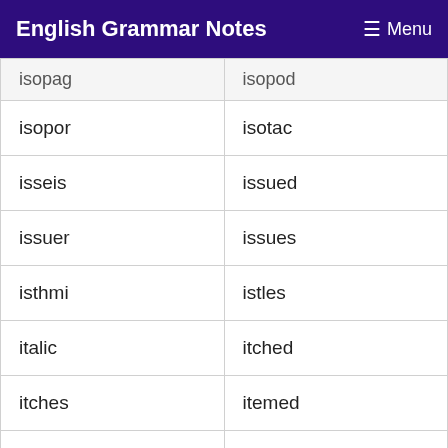English Grammar Notes  Menu
| isopag | isopod |
| isopor | isotac |
| isseis | issued |
| issuer | issues |
| isthmi | istles |
| italic | itched |
| itches | itemed |
| itself | ixodid |
| ixoras | ixtles |
| izards | izzard |